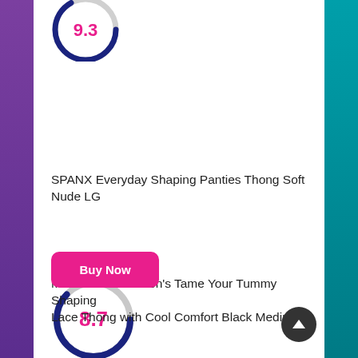[Figure (donut-chart): Partial score circle showing 9.3 in pink text, dark blue/gray ring, cropped at top]
SPANX Everyday Shaping Panties Thong Soft Nude LG
[Figure (other): Pink 'Buy Now' button]
[Figure (donut-chart): Score circle showing 8.7 in pink text, dark blue/gray ring]
Maidenform Women's Tame Your Tummy Shaping Lace Thong with Cool Comfort Black Medium